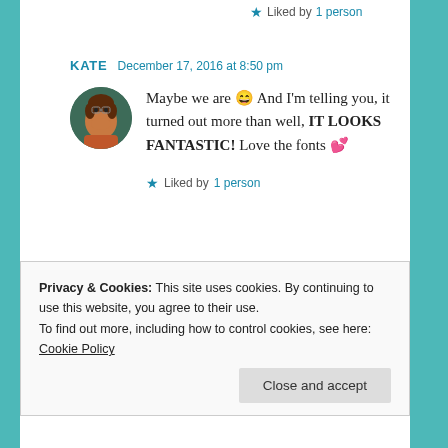★ Liked by 1 person
KATE  December 17, 2016 at 8:50 pm
Maybe we are 😄 And I'm telling you, it turned out more than well, IT LOOKS FANTASTIC! Love the fonts 💕
★ Liked by 1 person
KATE  December 17, 2016 at 8:51 pm
Privacy & Cookies: This site uses cookies. By continuing to use this website, you agree to their use.
To find out more, including how to control cookies, see here: Cookie Policy
Close and accept